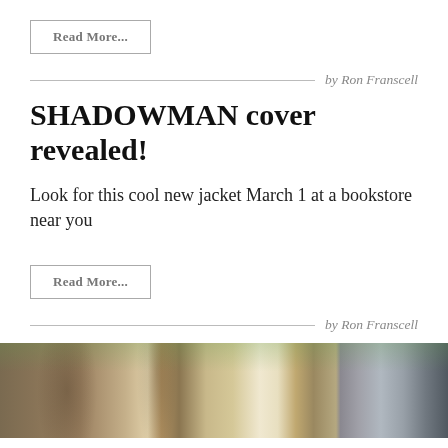Read More...
by Ron Franscell
SHADOWMAN cover revealed!
Look for this cool new jacket March 1 at a bookstore near you
Read More...
by Ron Franscell
[Figure (photo): Composite photo showing large tree trunks (aspens or cottonwoods) on the left and a military helicopter on the right]